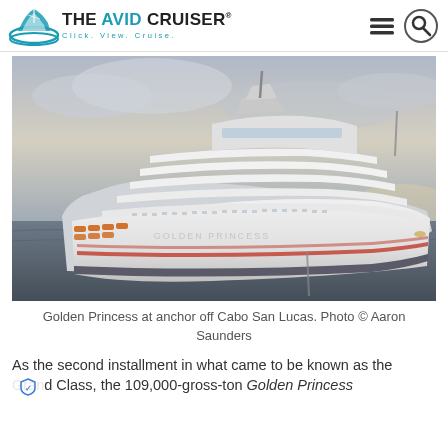THE AVID CRUISER® Click. View. Cruise.
[Figure (photo): Large cruise ship (Golden Princess) at anchor off Cabo San Lucas, photographed from low angle showing the bow and multiple decks against a cloudy sky at dusk/dawn.]
Golden Princess at anchor off Cabo San Lucas. Photo © Aaron Saunders
As the second installment in what came to be known as the Grand Class, the 109,000-gross-ton Golden Princess